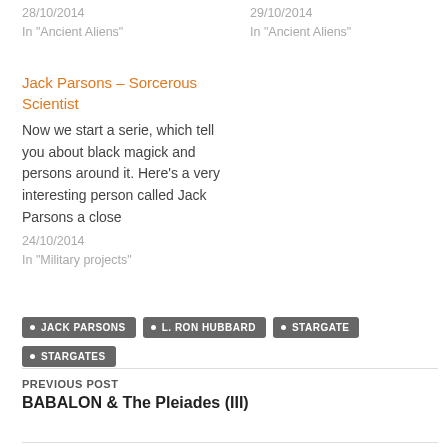28/10/2014
In "Ancient Aliens"
29/10/2014
In "Ancient Aliens"
Jack Parsons – Sorcerous Scientist
Now we start a serie, which tell you about black magick and persons around it. Here's a very interesting person called Jack Parsons a close
24/10/2014
In "Military projects"
JACK PARSONS
L. RON HUBBARD
STARGATE
STARGATES
PREVIOUS POST
BABALON & The Pleiades (III)